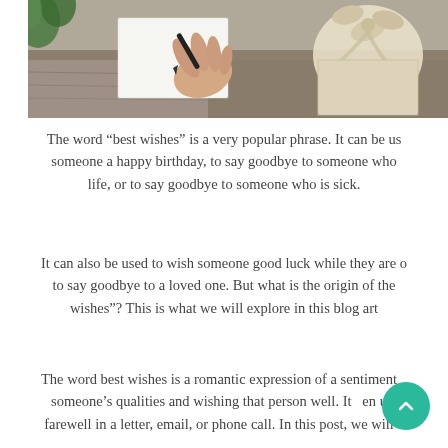[Figure (photo): A hand writing a note or card next to a ribbon-tied gift or envelope, on a wooden surface with greenery in background.]
The word “best wishes” is a very popular phrase. It can be used to wish someone a happy birthday, to say goodbye to someone who is leaving your life, or to say goodbye to someone who is sick.
It can also be used to wish someone good luck while they are on a trip, or to say goodbye to a loved one. But what is the origin of the term “best wishes”? This is what we will explore in this blog article.
The word best wishes is a romantic expression of a sentiment admiring someone’s qualities and wishing that person well. It has been used as a farewell in a letter, email, or phone call. In this post, we will...